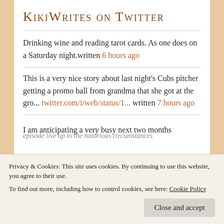KikiWrites on Twitter
Drinking wine and reading tarot cards. As one does on a Saturday night.written 6 hours ago
This is a very nice story about last night's Cubs pitcher getting a promo ball from grandma that she got at the gro... twitter.com/i/web/status/1... written 7 hours ago
I am anticipating a very busy next two months
Privacy & Cookies: This site uses cookies. By continuing to use this website, you agree to their use.
To find out more, including how to control cookies, see here: Cookie Policy
episode live up to the notorious circumstances